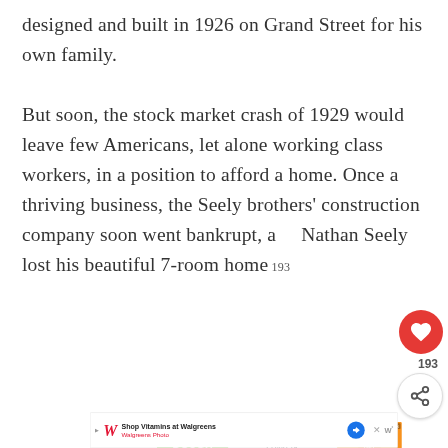designed and built in 1926 on Grand Street for his own family.
But soon, the stock market crash of 1929 would leave few Americans, let alone working class workers, in a position to afford a home. Once a thriving business, the Seely brothers' construction company soon went bankrupt, and Nathan Seely lost his beautiful 7-room home
[Figure (screenshot): Cookie Dough ad banner: green section with 'COOKIE DOUGH' text, white section reading 'Childhood cancer didn't stop for COVID-19.', orange section with 'cookies for kids cancer' logo and 'GET' button. Close X button visible.]
[Figure (screenshot): 'WHAT'S NEXT ->' popup with thumbnail image and text 'These 5 Westchester...']
[Figure (screenshot): Walgreens ad: 'Shop Vitamins at Walgreens / Walgreens Photo' with Walgreens logo and navigation arrow icon. Close X button visible.]